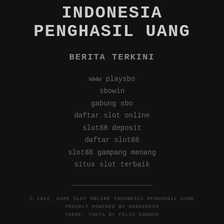INDONESIA PENGHASIL UANG
BERITA TERKINI
www playsbo
sbowin
gabung sbo
daftar slot online
slot88 deposit
daftar slot88
slot88 gampang menang
situs slot terbaik
© 2022, GAME SLOT ONLINE INDONESIA PENGHASIL UANG
PROUDLY POWERED BY WORDPRESS
THEME: YUUTA BY FELIX DORNER